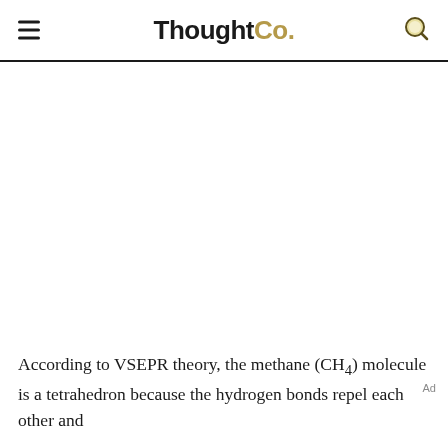ThoughtCo.
[Figure (other): Advertisement placeholder area (white space)]
According to VSEPR theory, the methane (CH4) molecule is a tetrahedron because the hydrogen bonds repel each other and